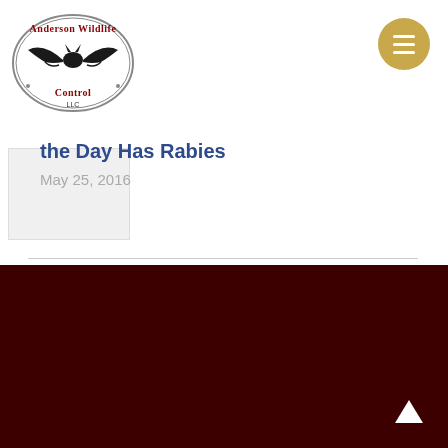[Figure (logo): Anderson Wildlife Control LLC logo with bat silhouette in oval frame]
[Figure (other): Gold circular hamburger menu button with three white horizontal lines]
[Figure (photo): Small thumbnail image placeholder (light gray)]
the Day Has Rabies
May 25, 2016
CONTACT INFO
Address:
40 June St, Naugatuck, CT 06770
Business hours:
Mon-Sat: 8am - 7pm